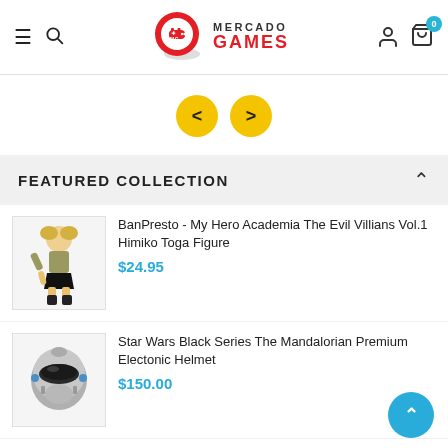[Figure (logo): Mercado Games logo - red circle with game controller icon and text MERCADO GAMES]
[Figure (other): Navigation slider buttons - two yellow circular arrow buttons (previous and next)]
FEATURED COLLECTION
[Figure (photo): BanPresto My Hero Academia Himiko Toga anime figure in action pose]
BanPresto - My Hero Academia The Evil Villians Vol.1 Himiko Toga Figure
$24.95
[Figure (photo): Star Wars Black Series Mandalorian helmet product image]
Star Wars Black Series The Mandalorian Premium Electonic Helmet
$150.00
[Figure (photo): FUNKO POP Naruto Six Path Sage golden figure]
FUNKO POP! ANIMATION: Naruto Six Path Sage
$19.99